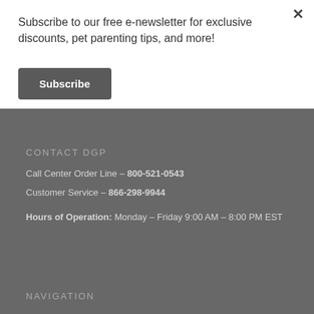Subscribe to our free e-newsletter for exclusive discounts, pet parenting tips, and more!
Subscribe
CONTACT DGP
Call Center Order Line – 800-521-0543
Customer Service – 866-298-9944
Hours of Operation: Monday – Friday 9:00 AM – 8:00 PM EST
NAVIGATION